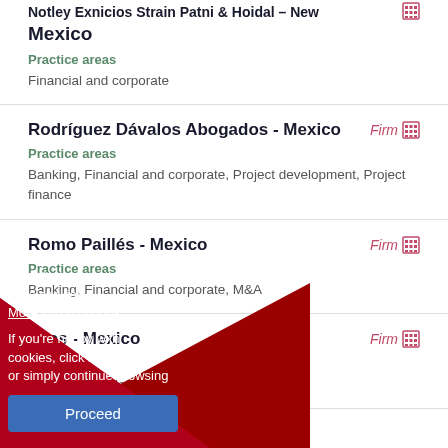Notley Exnicios Strain Patni & Hoidal – New Mexico
Practice areas
Financial and corporate
Rodríguez Dávalos Abogados - Mexico
Practice areas
Banking, Financial and corporate, Project development, Project finance
Romo Paillés - Mexico
Practice areas
Banking, Financial and corporate, M&A
[...] ados - Mexico
Practice areas
M&A, Project development, Restructuring
This site uses cookies. More info & options
If you're happy with cookies, click Proceed or simply continue browsing
Proceed